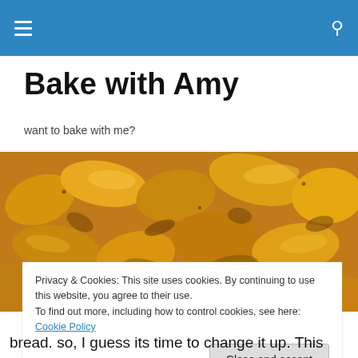Bake with Amy — navigation bar
Bake with Amy
want to bake with me?
[Figure (photo): Close-up photo of caramelized baked apple slices with golden-brown sugar coating]
Privacy & Cookies: This site uses cookies. By continuing to use this website, you agree to their use.
To find out more, including how to control cookies, see here: Cookie Policy
Close and accept
bread. so, I guess its time to change it up. This time, I